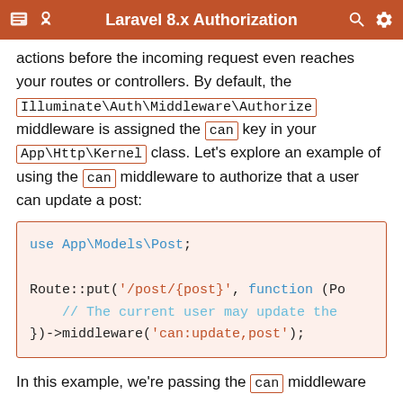Laravel 8.x Authorization
actions before the incoming request even reaches your routes or controllers. By default, the Illuminate\Auth\Middleware\Authorize middleware is assigned the can key in your App\Http\Kernel class. Let's explore an example of using the can middleware to authorize that a user can update a post:
[Figure (screenshot): Code block showing PHP Laravel route with middleware: use App\Models\Post; Route::put('/post/{post}', function (Po... // The current user may update the })->middleware('can:update,post');]
In this example, we're passing the can middleware